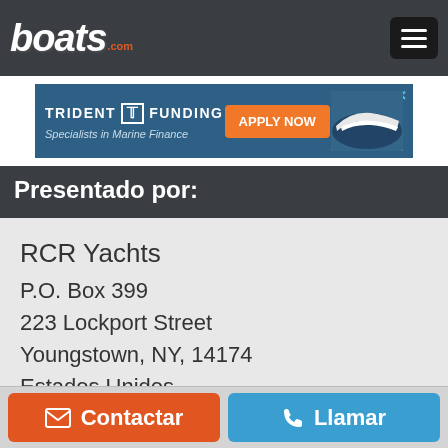[Figure (logo): boats.com logo in white italic text with orange .com]
[Figure (screenshot): Trident Funding advertisement banner with Apply Now button and boat image]
Presentado por:
RCR Yachts
P.O. Box 399
223 Lockport Street
Youngstown, NY, 14174
Estados Unidos
716-745-3862
Ver el inventario del vendedor
Contactar
Llamar